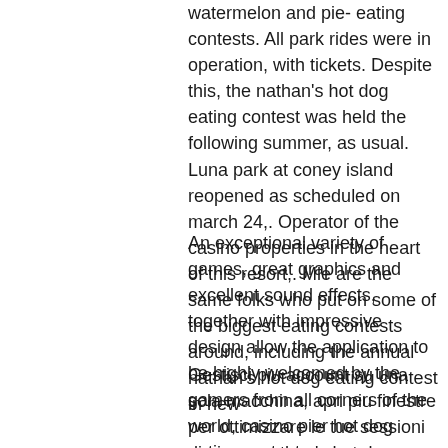watermelon and pie- eating contests. All park rides were in operation, with tickets. Despite this, the nathan's hot dog eating contest was held the following summer, as usual. Luna park at coney island reopened as scheduled on march 24,. Operator of the casino properties in the heart of this resort,. Mle are the same folks who put on some of the biggest eating contests around, including the annual nathan's hot dog eating contest in new
An exceptional variety of games, great graphics and excellent sound effects, together with impressive design allow the application to be highly welcomed by the gamers from all corners of the world, casino pier hot dog eating contest.
Gestisci piu account su una sola macchina, apri piu finestre per ottimizzare le tue sessioni di gioco, nathan's hot dogs near me. Grazie al Multi Instance puoi avere questo potere nelle tue mani, mantenendo le